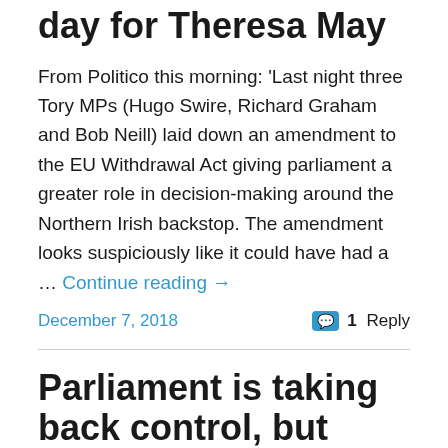day for Theresa May
From Politico this morning: 'Last night three Tory MPs (Hugo Swire, Richard Graham and Bob Neill) laid down an amendment to the EU Withdrawal Act giving parliament a greater role in decision-making around the Northern Irish backstop. The amendment looks suspiciously like it could have had a … Continue reading →
December 7, 2018
1 Reply
Parliament is taking back control, but without Neil Parish and Hugo Swire (they backed Theresa May's crumbling administration as it went down